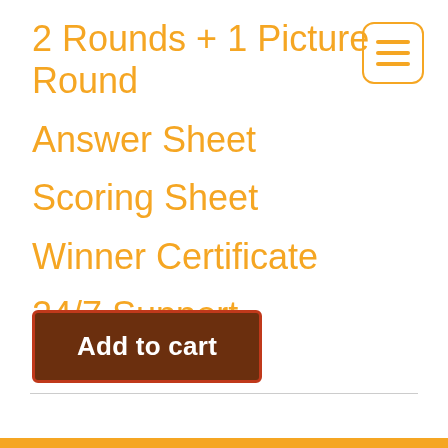2 Rounds + 1 Picture Round
Answer Sheet
Scoring Sheet
Winner Certificate
24/7 Support
[Figure (illustration): Hamburger menu icon: rounded square border in orange with three horizontal orange lines inside]
Add to cart